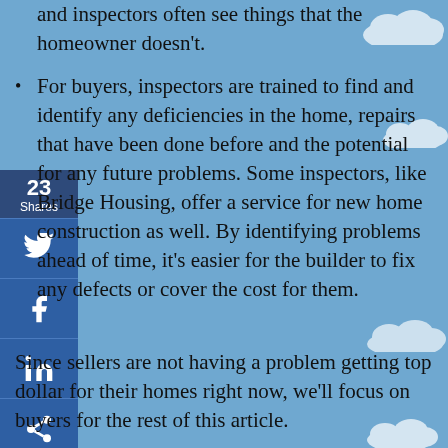For buyers, inspectors are trained to find and identify any deficiencies in the home, repairs that have been done before and the potential for any future problems. Some inspectors, like Bridge Housing, offer a service for new home construction as well. By identifying problems ahead of time, it’s easier for the builder to fix any defects or cover the cost for them.
Since sellers are not having a problem getting top dollar for their homes right now, we’ll focus on buyers for the rest of this article.